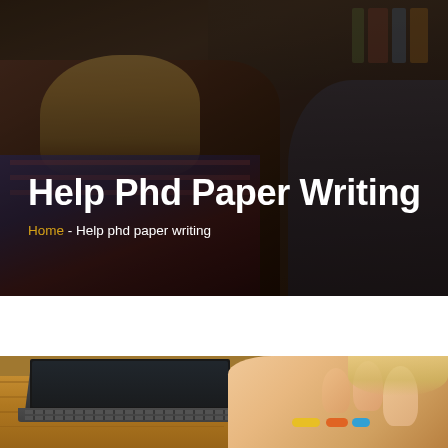[Figure (photo): Dark background photo of students studying in a library/classroom setting, with a girl in plaid shirt looking down at work in the foreground and other students visible in background]
Help Phd Paper Writing
Home - Help phd paper writing
[Figure (photo): Close-up photo of a person's hands typing on a laptop keyboard on a wooden table, with colorful bracelets visible on the wrist, another person with blonde hair visible on the right edge]